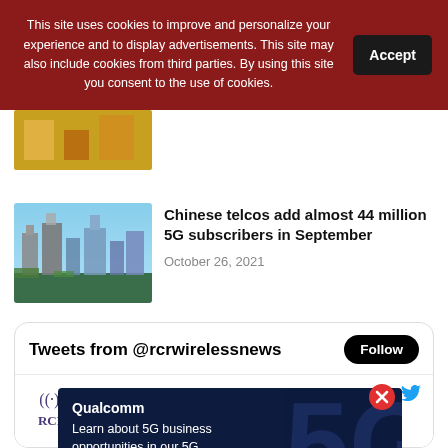This site uses cookies to improve and personalize your experience and to display advertisements. This site may also include cookies from third parties. By using this site you consent to the use of cookies.
[Figure (photo): Partial thumbnail of an article image, cropped at top]
[Figure (photo): Thumbnail of Chinese city skyline with tall skyscrapers]
Chinese telcos add almost 44 million 5G subscribers in September
October 26, 2021
Tweets from @rcrwirelessnews
[Figure (logo): RCR Wireless logo with radio wave icon]
RCR Wireless ... @rcrwireless... · 3m
Five social and economic impacts of fiber
Qualcomm
Learn about 5G business opportunities in our 5G Master Classes
[Figure (infographic): Qualcomm 5G advertisement with large 5G logo in background and Learn more button]